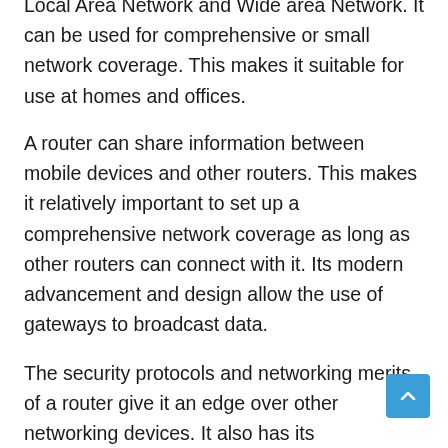Local Area Network and Wide area Network. It can be used for comprehensive or small network coverage. This makes it suitable for use at homes and offices.
A router can share information between mobile devices and other routers. This makes it relatively important to set up a comprehensive network coverage as long as other routers can connect with it. Its modern advancement and design allow the use of gateways to broadcast data.
The security protocols and networking merits of a router give it an edge over other networking devices. It also has its own...